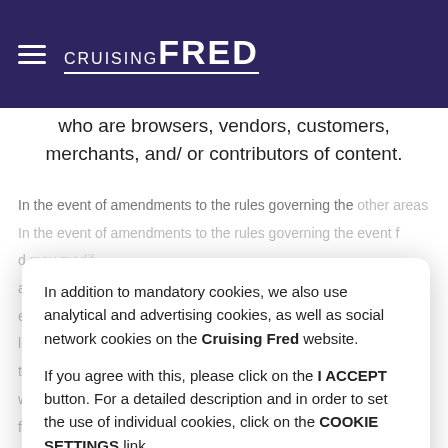CRUISING FRED
who are browsers, vendors, customers, merchants, and/ or contributors of content.
In addition to mandatory cookies, we also use analytical and advertising cookies, as well as social network cookies on the Cruising Fred website.

If you agree with this, please click on the I ACCEPT button. For a detailed description and in order to set the use of individual cookies, click on the COOKIE SETTINGS link.
I accept
Cookie Settings